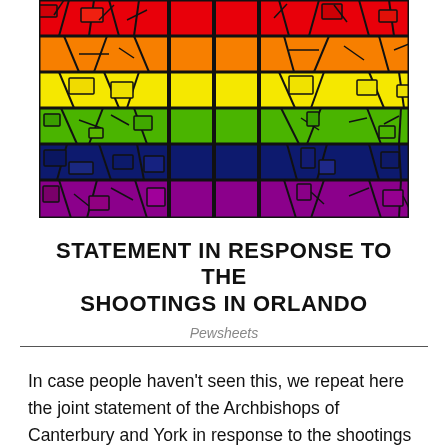[Figure (illustration): Stained glass style image showing the LGBT rainbow pride flag — horizontal bands of red, orange, yellow, green, blue, and purple mosaic tiles with black grid lines, resembling a church stained glass window.]
STATEMENT IN RESPONSE TO THE SHOOTINGS IN ORLANDO
Pewsheets
In case people haven’t seen this, we repeat here the joint statement of the Archbishops of Canterbury and York in response to the shootings in Orlando…